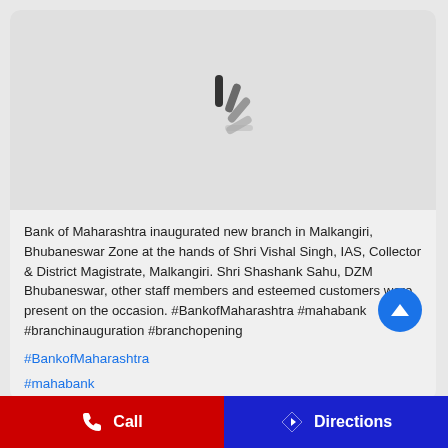[Figure (other): Loading spinner / image placeholder showing animated loading bars on a light grey background]
Bank of Maharashtra inaugurated new branch in Malkangiri, Bhubaneswar Zone at the hands of Shri Vishal Singh, IAS, Collector & District Magistrate, Malkangiri. Shri Shashank Sahu, DZM Bhubaneswar, other staff members and esteemed customers were present on the occasion. #BankofMaharashtra #mahabank #branchinauguration #branchopening
#BankofMaharashtra
#mahabank